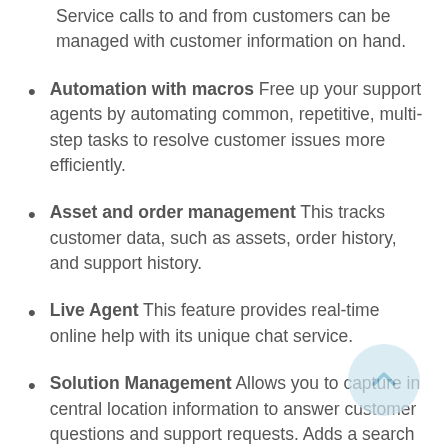Service calls to and from customers can be managed with customer information on hand.
Automation with macros Free up your support agents by automating common, repetitive, multi-step tasks to resolve customer issues more efficiently.
Asset and order management This tracks customer data, such as assets, order history, and support history.
Live Agent This feature provides real-time online help with its unique chat service.
Solution Management Allows you to capture in central location information to answer customer questions and support requests. Adds a search facility to access